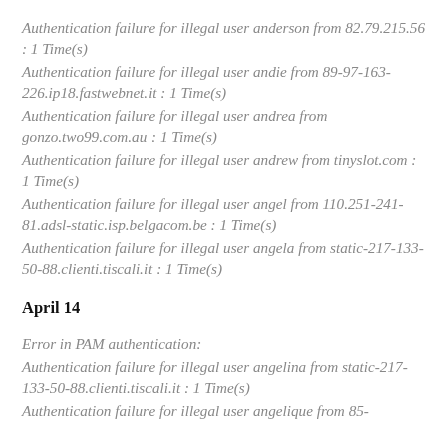Authentication failure for illegal user anderson from 82.79.215.56 : 1 Time(s)
Authentication failure for illegal user andie from 89-97-163-226.ip18.fastwebnet.it : 1 Time(s)
Authentication failure for illegal user andrea from gonzo.two99.com.au : 1 Time(s)
Authentication failure for illegal user andrew from tinyslot.com : 1 Time(s)
Authentication failure for illegal user angel from 110.251-241-81.adsl-static.isp.belgacom.be : 1 Time(s)
Authentication failure for illegal user angela from static-217-133-50-88.clienti.tiscali.it : 1 Time(s)
April 14
Error in PAM authentication:
Authentication failure for illegal user angelina from static-217-133-50-88.clienti.tiscali.it : 1 Time(s)
Authentication failure for illegal user angelique from 85-